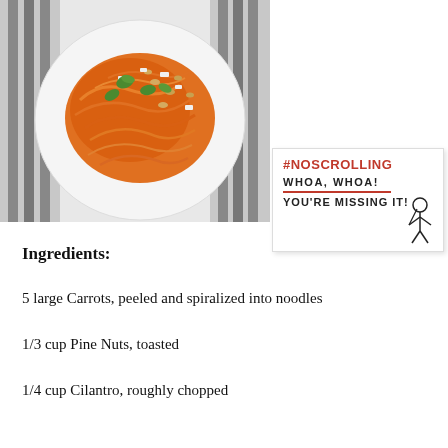[Figure (photo): Photo of spiralized carrot noodles on a white plate topped with pine nuts, crumbled feta, and cilantro, with a striped cloth napkin in the background]
[Figure (infographic): #NOSCROLLING box with text 'WHOA, WHOA! YOU'RE MISSING IT!' in uppercase with a red underline and a cartoon figure]
Ingredients:
5 large Carrots, peeled and spiralized into noodles
1/3 cup Pine Nuts, toasted
1/4 cup Cilantro, roughly chopped